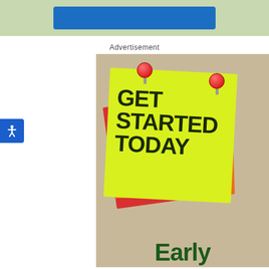[Figure (illustration): Top banner with light green background and a blue button/element in the center]
Advertisement
[Figure (photo): Stack of colorful sticky notes (red, orange, yellow) pinned with red pushpins on a tan/beige background. The yellow top note reads GET STARTED TODAY in bold handwritten text. Below the sticky notes the word 'Early' appears in dark green bold text.]